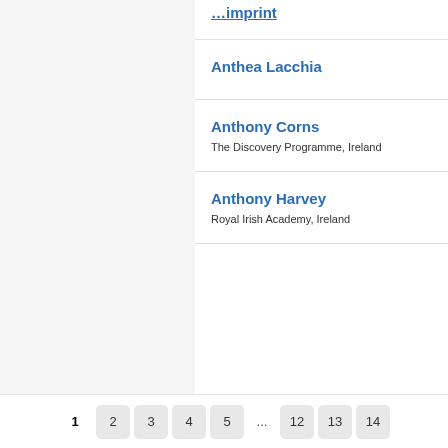…imprint
Anthea Lacchia
Anthony Corns
The Discovery Programme, Ireland
Anthony Harvey
Royal Irish Academy, Ireland
1 2 3 4 5 ... 12 13 14